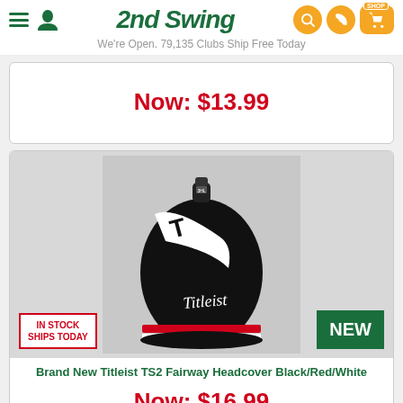2nd Swing — We're Open. 79,135 Clubs Ship Free Today
Now: $13.99
[Figure (photo): Titleist TS2 Fairway Headcover in Black/Red/White with IN STOCK SHIPS TODAY badge and NEW badge]
Brand New Titleist TS2 Fairway Headcover Black/Red/White
Now: $16.99